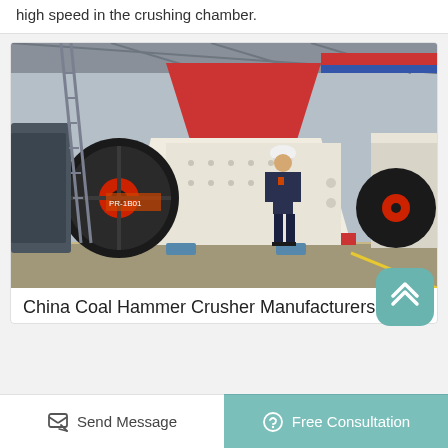high speed in the crushing chamber.
[Figure (photo): Large white and red industrial hammer crusher machine displayed in a factory warehouse, with a worker in a white hard hat and dark blue uniform standing next to it for scale. A large black flywheel with red center is visible on the left side of the machine. Other industrial equipment is visible in the background.]
China Coal Hammer Crusher Manufacturers
Send Message
Free Consultation